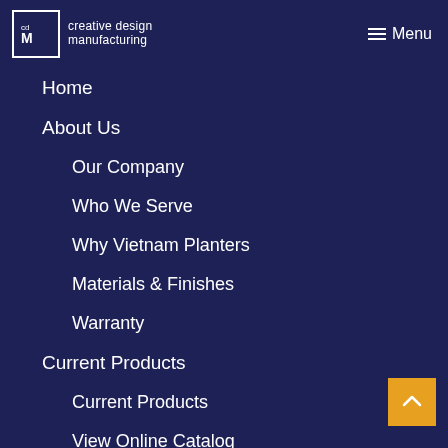creative design manufacturing — Menu
Home
About Us
Our Company
Who We Serve
Why Vietnam Planters
Materials & Finishes
Warranty
Current Products
Current Products
View Online Catalog
Download CDM Catalog
Bespoke Services
Custom Planters